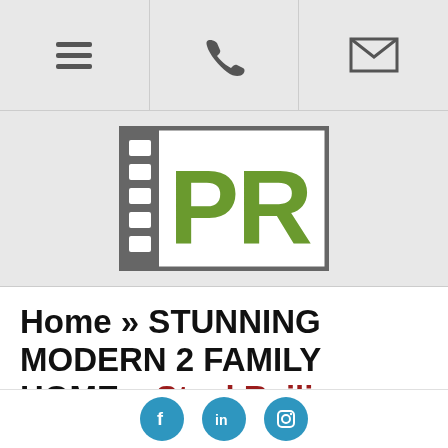Navigation bar with hamburger menu, phone, and email icons
[Figure (logo): PR logo — stylized letter P and R in olive green on a gray/white box with film-strip style left border]
Home » STUNNING MODERN 2 FAMILY HOME » Steel Railing
Steel Railing
Social links: Facebook, LinkedIn, Instagram